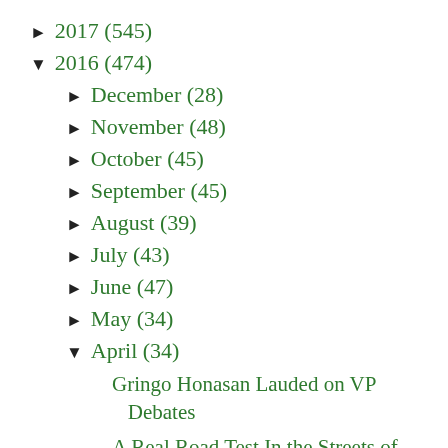► 2017 (545)
▼ 2016 (474)
► December (28)
► November (48)
► October (45)
► September (45)
► August (39)
► July (43)
► June (47)
► May (34)
▼ April (34)
Gringo Honasan Lauded on VP Debates
A Real Road Test In the Streets of Manila with the...